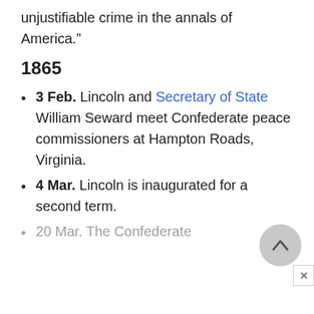unjustifiable crime in the annals of America.”
1865
3 Feb. Lincoln and Secretary of State William Seward meet Confederate peace commissioners at Hampton Roads, Virginia.
4 Mar. Lincoln is inaugurated for a second term.
20 Mar. The Confederate Congress authorizes the arming of